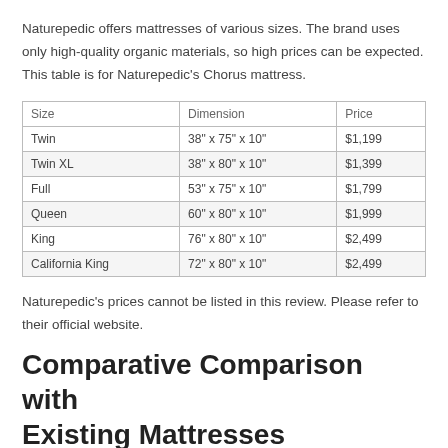Naturepedic offers mattresses of various sizes. The brand uses only high-quality organic materials, so high prices can be expected. This table is for Naturepedic’s Chorus mattress.
| Size | Dimension | Price |
| --- | --- | --- |
| Twin | 38" x 75" x 10" | $1,199 |
| Twin XL | 38" x 80" x 10" | $1,399 |
| Full | 53" x 75" x 10" | $1,799 |
| Queen | 60" x 80" x 10" | $1,999 |
| King | 76" x 80" x 10" | $2,499 |
| California King | 72" x 80" x 10" | $2,499 |
Naturepedic's prices cannot be listed in this review. Please refer to their official website.
Comparative Comparison with Existing Mattresses
While Naturepedic has its own strong points, it’s understandable if